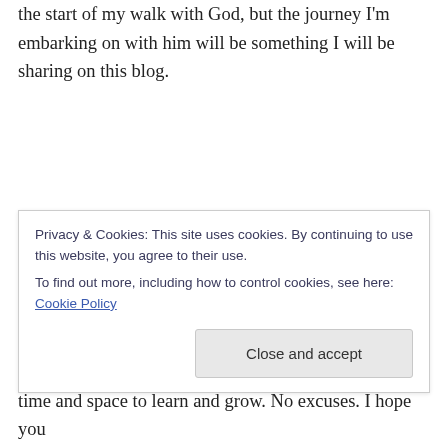the start of my walk with God, but the journey I'm embarking on with him will be something I will be sharing on this blog.
I still love food! My choices in quality food may have slipped of late, and my sugar and caffeine intake has shot through the roof. However, after a wicked session back at the gym, I cooked my first dinner (in a long time) today
Privacy & Cookies: This site uses cookies. By continuing to use this website, you agree to their use.
To find out more, including how to control cookies, see here: Cookie Policy
Close and accept
time and space to learn and grow. No excuses. I hope you